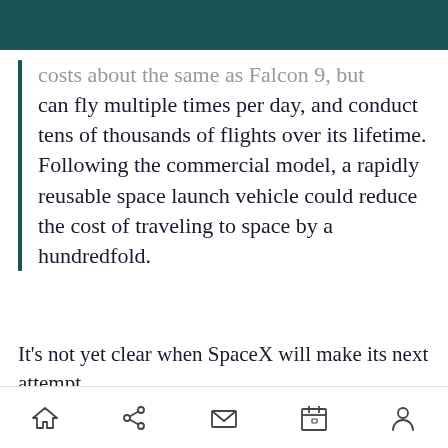costs about the same as Falcon 9, but can fly multiple times per day, and conduct tens of thousands of flights over its lifetime. Following the commercial model, a rapidly reusable space launch vehicle could reduce the cost of traveling to space by a hundredfold.
It's not yet clear when SpaceX will make its next attempt.
ADVERTISEMENT
[navigation bar with home, share, mail, calendar, profile icons]